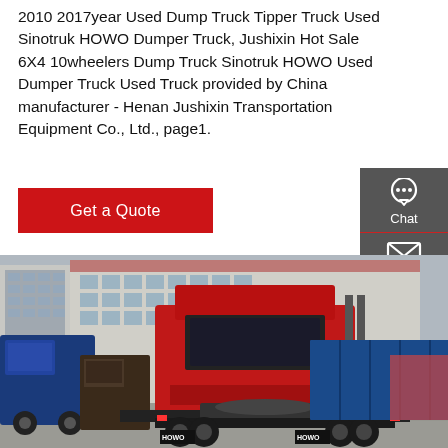2010 2017year Used Dump Truck Tipper Truck Used Sinotruk HOWO Dumper Truck, Jushixin Hot Sale 6X4 10wheelers Dump Truck Sinotruk HOWO Used Dumper Truck Used Truck provided by China manufacturer - Henan Jushixin Transportation Equipment Co., Ltd., page1.
Get a Quote
[Figure (photo): Rear view of a red HOWO semi-truck (tractor unit) parked in a large industrial yard with warehouse buildings in the background. Blue trucks visible on the left side. HOWO branding on the mud flaps.]